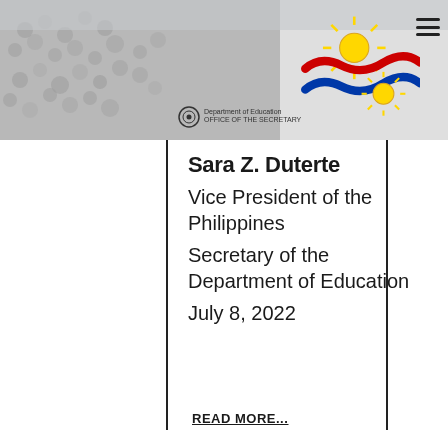[Figure (photo): Header background with crowd photo, Philippine flag emblem SVG decoration top right, and hamburger menu icon]
Sara Z. Duterte
Vice President of the Philippines
Secretary of the Department of Education
July 8, 2022
READ MORE...